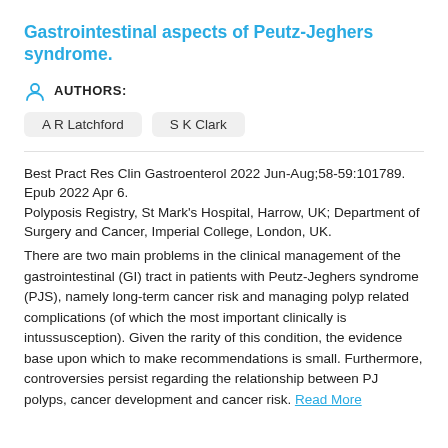Gastrointestinal aspects of Peutz-Jeghers syndrome.
AUTHORS:
A R Latchford
S K Clark
Best Pract Res Clin Gastroenterol 2022 Jun-Aug;58-59:101789. Epub 2022 Apr 6.
Polyposis Registry, St Mark's Hospital, Harrow, UK; Department of Surgery and Cancer, Imperial College, London, UK.
There are two main problems in the clinical management of the gastrointestinal (GI) tract in patients with Peutz-Jeghers syndrome (PJS), namely long-term cancer risk and managing polyp related complications (of which the most important clinically is intussusception). Given the rarity of this condition, the evidence base upon which to make recommendations is small. Furthermore, controversies persist regarding the relationship between PJ polyps, cancer development and cancer risk. Read More